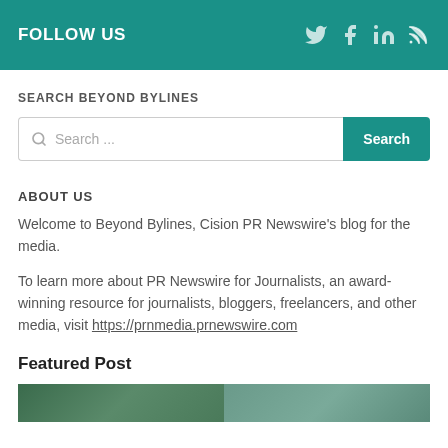FOLLOW US
SEARCH BEYOND BYLINES
Search ...
ABOUT US
Welcome to Beyond Bylines, Cision PR Newswire’s blog for the media.
To learn more about PR Newswire for Journalists, an award-winning resource for journalists, bloggers, freelancers, and other media, visit https://prnmedia.prnewswire.com
Featured Post
[Figure (photo): Featured post thumbnail image strip showing a partial photo]